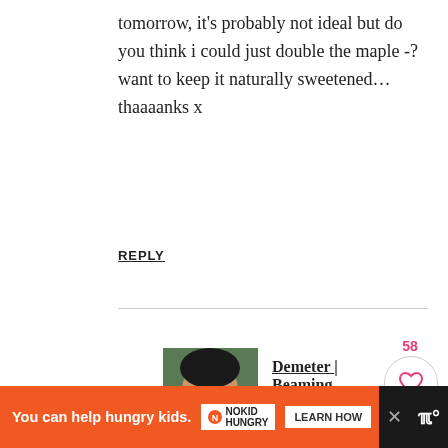tomorrow, it's probably not ideal but do you think i could just double the maple -? want to keep it naturally sweetened… thaaaanks x
REPLY
Demeter | Beaming Baker says
October 23, 2020 at 12:24 pm
Thanks Katie! I think you *might* be able to get away with it since these are brownies (they can always stand to be a bit moist), but you might want to leave out a tablespoon? Good luck! Let me know
You can help hungry kids.  NOKID HUNGRY  LEARN HOW